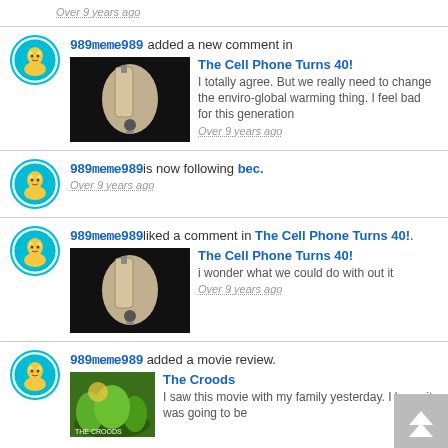Over 9 years ago
989meme989 added a new comment in The Cell Phone Turns 40! — I totally agree. But we really need to change the enviro-global warming thing. I feel bad for this generation — Over 9 years ago
989meme989 is now following bec. — Over 9 years ago
989meme989 liked a comment in The Cell Phone Turns 40!. — The Cell Phone Turns 40! — i wonder what we could do with out it — Over 9 years ago
989meme989 added a movie review. The Croods — I saw this movie with my family yesterday. I knew it was going to be